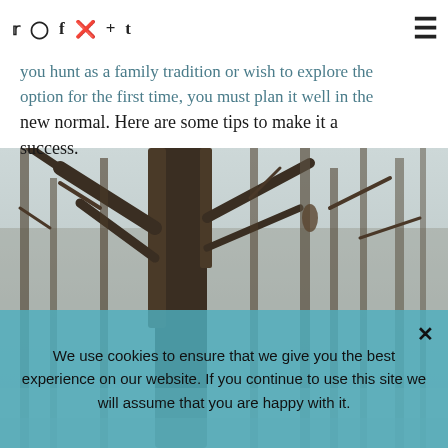Social icons: Twitter, Instagram, Facebook, Pinterest, +, Tumblr | Hamburger menu
you hunt as a family tradition or wish to explore the option for the first time, you must plan it well in the new normal. Here are some tips to make it a success.
[Figure (photo): Bare winter forest trees with snow, black and white/sepia toned photograph of tree trunks and branches.]
We use cookies to ensure that we give you the best experience on our website. If you continue to use this site we will assume that you are happy with it.